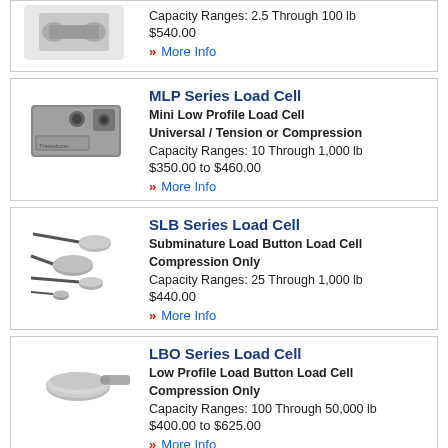[Figure (photo): Partial top product row showing a load cell device image]
Capacity Ranges: 2.5 Through 100 lb
$540.00
» More Info
MLP Series Load Cell
Mini Low Profile Load Cell Universal / Tension or Compression
Capacity Ranges: 10 Through 1,000 lb
$350.00 to $460.00
» More Info
[Figure (photo): MLP Series Load Cell - mini low profile rectangular load cell with mounting hole]
SLB Series Load Cell
Subminature Load Button Load Cell Compression Only
Capacity Ranges: 25 Through 1,000 lb
$440.00
» More Info
[Figure (photo): SLB Series Load Cell - subminature load button load cells with cables]
LBO Series Load Cell
Low Profile Load Button Load Cell Compression Only
Capacity Ranges: 100 Through 50,000 lb
$400.00 to $625.00
» More Info
[Figure (photo): LBO Series Load Cell - low profile load button with handle]
Partial bottom row visible